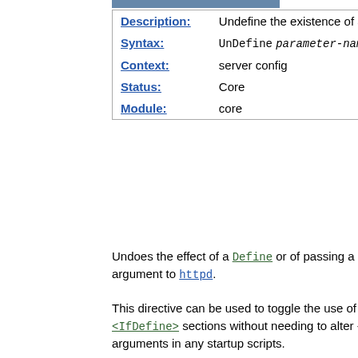| Description: | Undefine the existence of a variable |
| Syntax: | UnDefine parameter-name |
| Context: | server config |
| Status: | Core |
| Module: | core |
Undoes the effect of a Define or of passing a -D argument to httpd.
This directive can be used to toggle the use of <IfDefine> sections without needing to alter -D arguments in any startup scripts.
While this directive is supported in virtual host